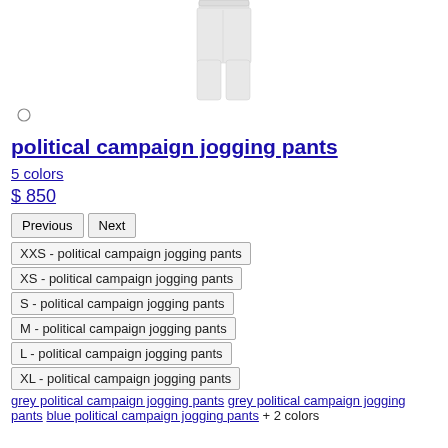[Figure (photo): Product photo of grey/white jogging pants shown from the front, cropped at waist area]
[Figure (other): Small circular color swatch indicator]
political campaign jogging pants
5 colors
$ 850
Previous | Next
XXS - political campaign jogging pants
XS - political campaign jogging pants
S - political campaign jogging pants
M - political campaign jogging pants
L - political campaign jogging pants
XL - political campaign jogging pants
grey political campaign jogging pants grey political campaign jogging pants blue political campaign jogging pants + 2 colors